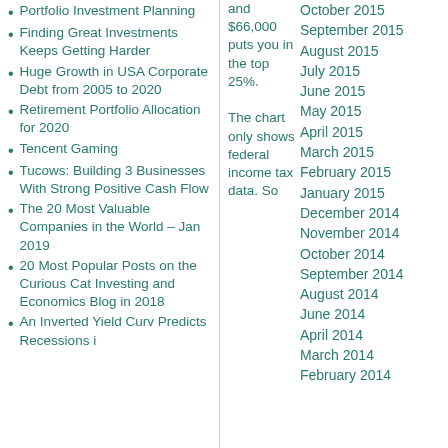Portfolio Investment Planning
Finding Great Investments Keeps Getting Harder
Huge Growth in USA Corporate Debt from 2005 to 2020
Retirement Portfolio Allocation for 2020
Tencent Gaming
Tucows: Building 3 Businesses With Strong Positive Cash Flow
The 20 Most Valuable Companies in the World – Jan 2019
20 Most Popular Posts on the Curious Cat Investing and Economics Blog in 2018
An Inverted Yield Curve Predicts Recessions in the USA
and $66,000 puts you in the top 25%. The chart only shows federal income tax data. So
October 2015
September 2015
August 2015
July 2015
June 2015
May 2015
April 2015
March 2015
February 2015
January 2015
December 2014
November 2014
October 2014
September 2014
August 2014
June 2014
April 2014
March 2014
February 2014